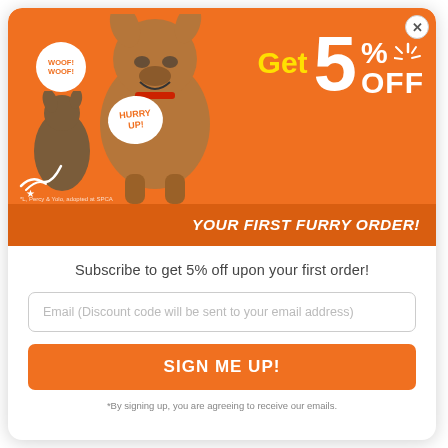[Figure (illustration): Promotional popup banner with orange background showing two dogs, speech bubbles saying WOOF! WOOF! and HURRY UP!, and large text reading Get 5% OFF YOUR FIRST FURRY ORDER!]
Subscribe to get 5% off upon your first order!
Email (Discount code will be sent to your email address)
SIGN ME UP!
*By signing up, you are agreeing to receive our emails.